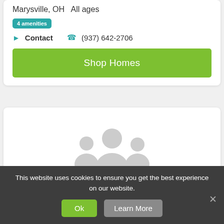Marysville, OH   All ages
4 amenities
Contact   (937) 642-2706
Shop Homes
[Figure (illustration): Group of people silhouette icon, light gray, representing a community or residents]
This website uses cookies to ensure you get the best experience on our website.
Ok
Learn More